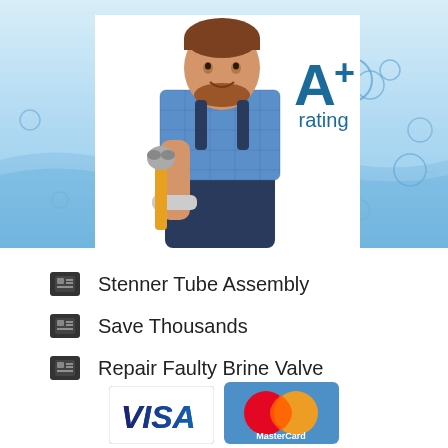[Figure (photo): Hero banner with a smiling male plumber in blue checkered shirt and dark overalls holding a wrench, set against a light blue water/bubble background. An 'A+ rating' text is displayed in dark teal/blue on the right side of the banner.]
Stenner Tube Assembly
Save Thousands
Repair Faulty Brine Valve
[Figure (logo): VISA and MasterCard payment logos at the bottom of the page]